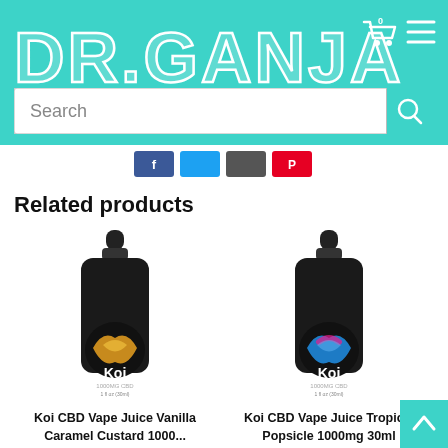[Figure (logo): DR.GANJA logo in white outline letters on teal/turquoise background with cart and menu icons]
[Figure (screenshot): Search bar with placeholder text 'Search' and teal search button]
[Figure (infographic): Row of social media share buttons: Facebook (blue), Twitter (blue), dark/email, Pinterest (red)]
Related products
[Figure (photo): Koi CBD Vape Juice bottle - black dropper bottle with orange/yellow koi fish logo, 1000mg CBD]
[Figure (photo): Koi CBD Vape Juice bottle - black dropper bottle with blue/pink koi fish logo, 1000mg CBD]
Koi CBD Vape Juice Vanilla Caramel Custard 1000...
Koi CBD Vape Juice Tropical Popsicle 1000mg 30ml